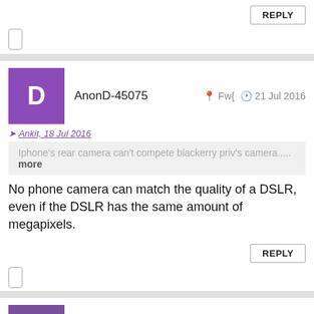REPLY (button)
AnonD-45075  Fw{  21 Jul 2016
Ankit, 18 Jul 2016
Iphone's rear camera can't compete blackerry priv's camera..... more
No phone camera can match the quality of a DSLR, even if the DSLR has the same amount of megapixels.
REPLY (button)
Ashish  v$C  20 Jul 2016
Blackberry is a worst company.....i suggest better take Nokia23 blackberry has worst service center....i purchased a new BlackBerry